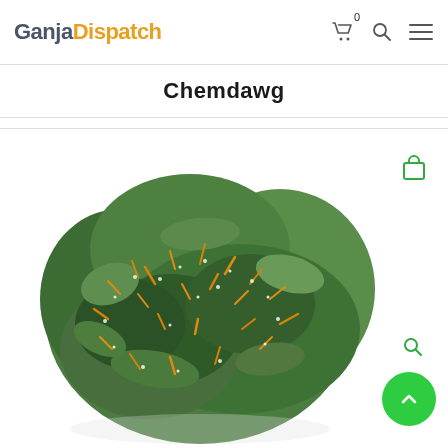GanjaDispatch
Chemdawg
[Figure (photo): Close-up photograph of a Chemdawg cannabis flower bud against a white background, showing dense green and orange trichome-covered nugs]